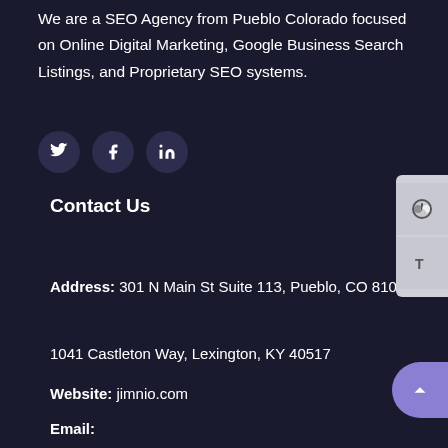We are a SEO Agency from Pueblo Colorado focused on Online Digital Marketing, Google Business Search Listings, and Proprietary SEO systems.
[Figure (illustration): Three social media icon buttons (Twitter, Facebook, LinkedIn) displayed as white circles with dark background icons]
Contact Us
Address: 301 N Main St Suite 113, Pueblo, CO 81003
1041 Castleton Way, Lexington, KY 40517
Website: jimnio.com
Email: